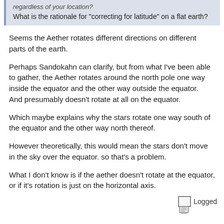regardless of your location?
What is the rationale for "correcting for latitude" on a flat earth?
Seems the Aether rotates different directions on different parts of the earth.
Perhaps Sandokahn can clarify, but from what I've been able to gather, the Aether rotates around the north pole one way inside the equator and the other way outside the equator.
And presumably doesn't rotate at all on the equator.
Which maybe explains why the stars rotate one way south of the equator and the other way north thereof.
However theoretically, this would mean the stars don't move in the sky over the equator. so that's a problem.
What I don't know is if the aether doesn't rotate at the equator, or if it's rotation is just on the horizontal axis.
Logged